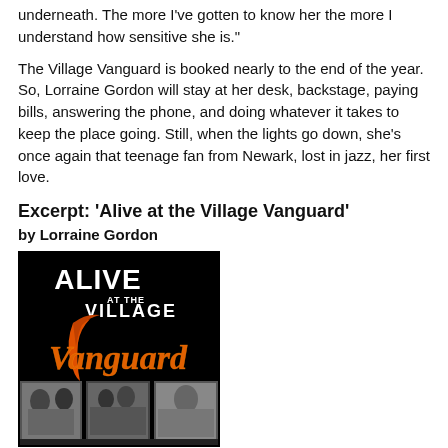underneath. The more I've gotten to know her the more I understand how sensitive she is."
The Village Vanguard is booked nearly to the end of the year. So, Lorraine Gordon will stay at her desk, backstage, paying bills, answering the phone, and doing whatever it takes to keep the place going. Still, when the lights go down, she's once again that teenage fan from Newark, lost in jazz, her first love.
Excerpt: 'Alive at the Village Vanguard'
by Lorraine Gordon
[Figure (photo): Book cover of 'Alive at the Village Vanguard' by Lorraine Gordon. Black background with stylized orange/red neon-style 'Vanguard' text, white text reading 'ALIVE AT THE VILLAGE', and black and white photos at the bottom showing musicians and people.]